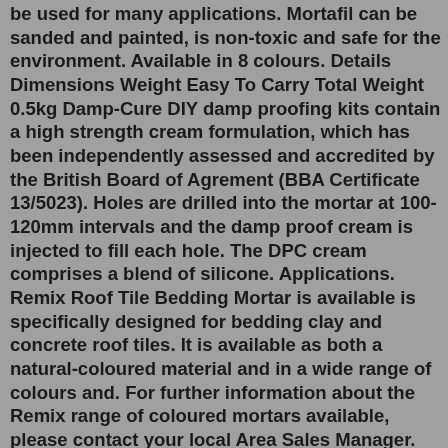be used for many applications. Mortafil can be sanded and painted, is non-toxic and safe for the environment. Available in 8 colours. Details Dimensions Weight Easy To Carry Total Weight 0.5kg Damp-Cure DIY damp proofing kits contain a high strength cream formulation, which has been independently assessed and accredited by the British Board of Agrement (BBA Certificate 13/5023). Holes are drilled into the mortar at 100-120mm intervals and the damp proof cream is injected to fill each hole. The DPC cream comprises a blend of silicone. Applications. Remix Roof Tile Bedding Mortar is available is specifically designed for bedding clay and concrete roof tiles. It is available as both a natural-coloured material and in a wide range of colours and. For further information about the Remix range of coloured mortars available, please contact your local Area Sales Manager. but has a gap filler that hardens (compared to say silicon) it also helps to lock everything in place The terms "we", "us", "our"